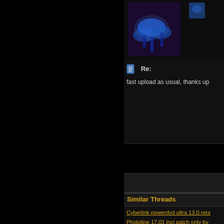[Figure (photo): Blue glowing mushroom/jellyfish image on dark purple background, with a small blue icon to the right]
Re:
fast upload as usual, thanks up
Similar Threads
Cyberlink powerdvd ultra 13.0 reta
Photoline 17.01 incl patch only by